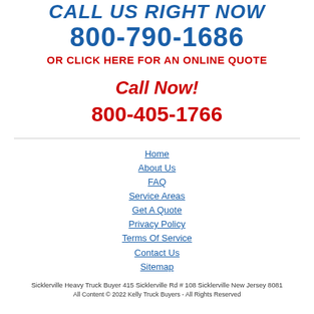Call Us Right Now
800-790-1686
OR CLICK HERE FOR AN ONLINE QUOTE
Call Now!
800-405-1766
Home
About Us
FAQ
Service Areas
Get A Quote
Privacy Policy
Terms Of Service
Contact Us
Sitemap
Sicklerville Heavy Truck Buyer 415 Sicklerville Rd # 108 Sicklerville New Jersey 8081
All Content © 2022 Kelly Truck Buyers - All Rights Reserved